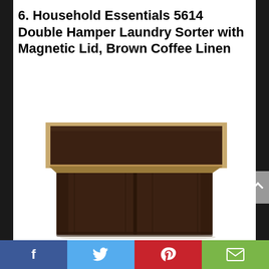6. Household Essentials 5614 Double Hamper Laundry Sorter with Magnetic Lid, Brown Coffee Linen
[Figure (photo): A brown coffee linen double hamper laundry sorter with a magnetic lid. The hamper has two compartments separated by a center divider, with a flat lid that has tan/khaki trim edges. The body is dark brown fabric.]
Facebook | Twitter | Pinterest | Email